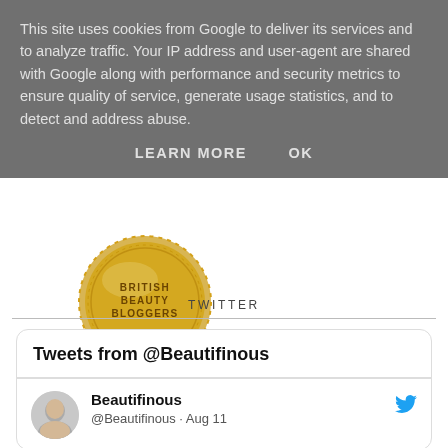This site uses cookies from Google to deliver its services and to analyze traffic. Your IP address and user-agent are shared with Google along with performance and security metrics to ensure quality of service, generate usage statistics, and to detect and address abuse.
LEARN MORE   OK
[Figure (illustration): Gold badge/seal with text 'BRITISH BEAUTY BLOGGERS' and decorative scalloped border, with a shadow beneath]
TWITTER
Tweets from @Beautifinous
Beautifinous @Beautifinous · Aug 11